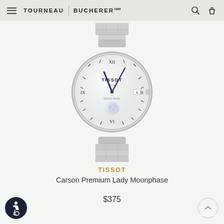TOURNEAU | BUCHERER
[Figure (photo): Tissot Carson Premium Lady Moonphase watch with silver stainless steel bracelet and case, white dial with Roman numerals, blue hands, moon phase complication at 6 o'clock, date window at 3 o'clock.]
TISSOT
Carson Premium Lady Moonphase
$375